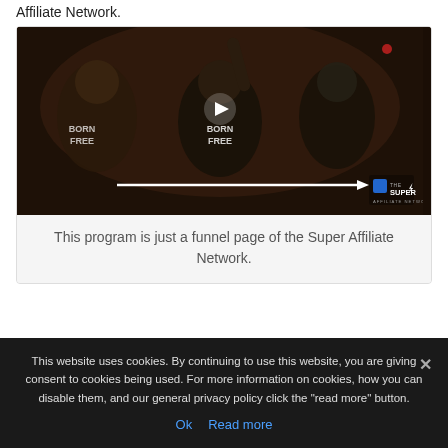Affiliate Network.
[Figure (screenshot): Video thumbnail of people at a conference/event with 'BORN FREE' shirts, a play button overlay, an arrow pointing right, and 'THE SUPER AFFILIATE NETWORK' logo in the bottom right corner.]
This program is just a funnel page of the Super Affiliate Network.
This website uses cookies. By continuing to use this website, you are giving consent to cookies being used. For more information on cookies, how you can disable them, and our general privacy policy click the "read more" button.